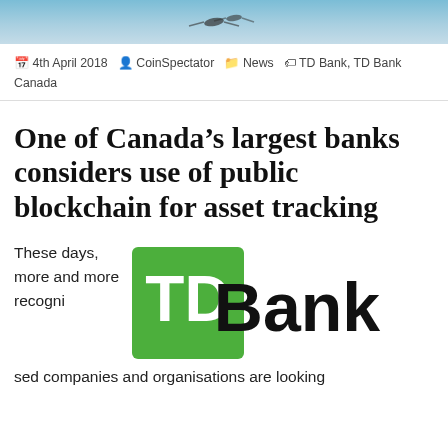[Figure (photo): Header image showing sky with birds or drones]
4th April 2018  CoinSpectator  News  TD Bank, TD Bank Canada
One of Canada’s largest banks considers use of public blockchain for asset tracking
These days, more and more recognised companies and organisations are looking
[Figure (logo): TD Bank logo: green square with white TD letters and bold black Bank text]